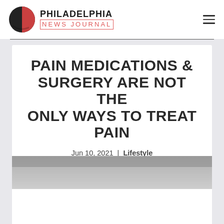[Figure (logo): Philadelphia News Journal logo with red-and-black circle icon and bold text]
PAIN MEDICATIONS & SURGERY ARE NOT THE ONLY WAYS TO TREAT PAIN
Jun 10, 2021 | Lifestyle
[Figure (photo): Partially visible photo of a medical or clinical setting, mostly white/grey]